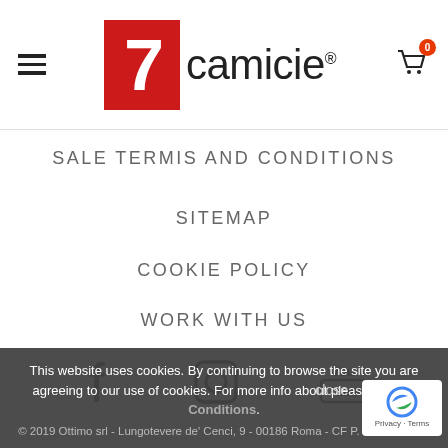[Figure (logo): 7camicie logo with red box containing white '7' and text 'camicie' with registered trademark symbol]
SALE TERMIS AND CONDITIONS
SITEMAP
COOKIE POLICY
WORK WITH US
[Figure (illustration): Social media icons row: Facebook, Instagram, YouTube]
This website uses cookies. By continuing to browse the site you are agreeing to our use of cookies. For more info about please see the Conditions.
close
© 2019 Ottimo srl - Lungotevere de' Cenci, 9 - 00186 Roma - CF P. IVA CCIAA di